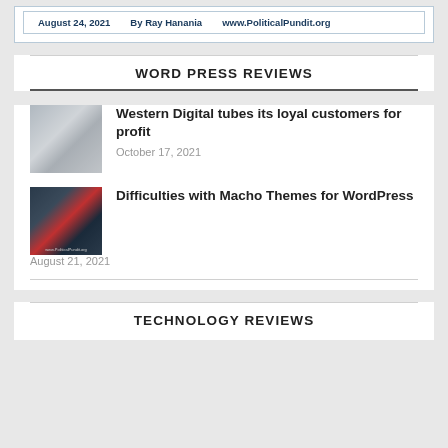[Figure (screenshot): Newspaper article header with date, author, and website: August 24, 2021 By Ray Hanania www.PoliticalPundit.org]
WORD PRESS REVIEWS
[Figure (photo): Thumbnail image for Western Digital article, gray tones]
Western Digital tubes its loyal customers for profit
October 17, 2021
[Figure (photo): Thumbnail image for Macho Themes article, dark background with red element]
Difficulties with Macho Themes for WordPress
August 21, 2021
TECHNOLOGY REVIEWS